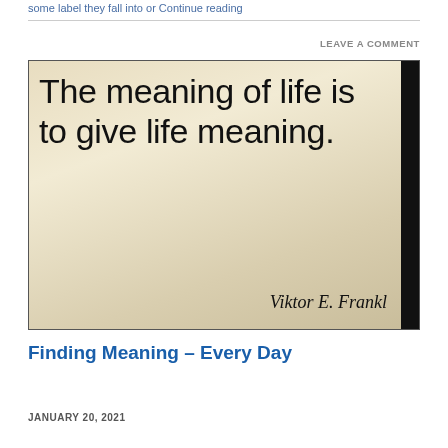some label they fall into or Continue reading
LEAVE A COMMENT
[Figure (photo): Quote image with beige/tan background: 'The meaning of life is to give life meaning.' with attribution 'Viktor E. Frankl' in italic serif font. Black bar on right edge.]
Finding Meaning – Every Day
JANUARY 20, 2021